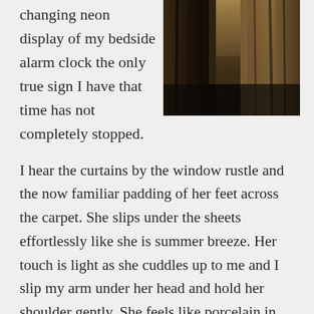changing neon display of my bedside alarm clock the only true sign I have that time has not completely stopped.
[Figure (photo): A dark, moody photograph of sheer curtains by a window, with dim light filtering through, creating deep shadows and a dramatic, atmospheric effect.]
I hear the curtains by the window rustle and the now familiar padding of her feet across the carpet. She slips under the sheets effortlessly like she is summer breeze. Her touch is light as she cuddles up to me and I slip my arm under her head and hold her shoulder gently. She feels like porcelain in my fingers. She's my very own porcelain doll.